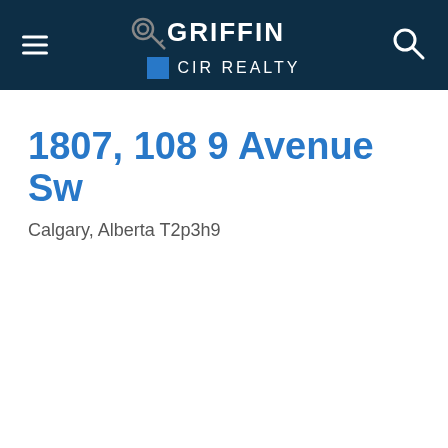GRIFFIN CIR REALTY
1807, 108 9 Avenue Sw
Calgary, Alberta T2p3h9